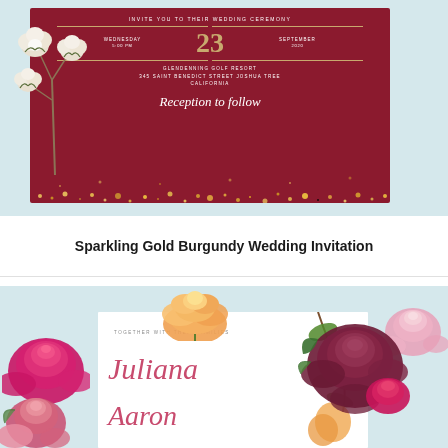[Figure (illustration): Sparkling Gold Burgundy Wedding Invitation card with cotton flowers on light blue background. The invitation card shows text: INVITE YOU TO THEIR WEDDING CEREMONY, WEDNESDAY 5:00 PM, 23, SEPTEMBER 2020, GLENDENNING GOLF RESORT, 345 SAINT BENEDICT STREET JOSHUA TREE, CALIFORNIA, Reception to follow. Gold glitter at the bottom of the card.]
Sparkling Gold Burgundy Wedding Invitation
[Figure (illustration): Floral wedding invitation with roses and pink flowers on light blue background. The invitation card shows: TOGETHER WITH THEIR FAMILIES, Juliana, Aaron (names in cursive pink script).]